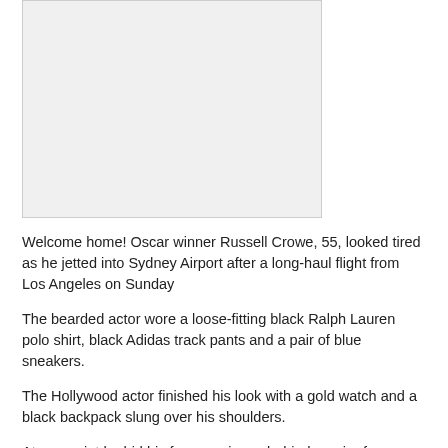[Figure (photo): Photo placeholder at top of page]
Welcome home! Oscar winner Russell Crowe, 55, looked tired as he jetted into Sydney Airport after a long-haul flight from Los Angeles on Sunday
The bearded actor wore a loose-fitting black Ralph Lauren polo shirt, black Adidas track pants and a pair of blue sneakers.
The Hollywood actor finished his look with a gold watch and a black backpack slung over his shoulders.
At one point he hid his famous visage behind a pair of sunglasses.
[Figure (photo): Photo placeholder at bottom of page]